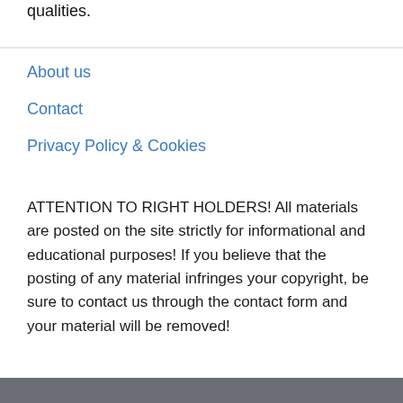qualities.
About us
Contact
Privacy Policy & Cookies
ATTENTION TO RIGHT HOLDERS! All materials are posted on the site strictly for informational and educational purposes! If you believe that the posting of any material infringes your copyright, be sure to contact us through the contact form and your material will be removed!